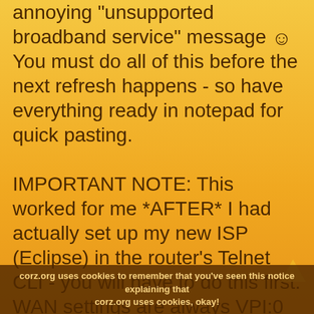annoying "unsupported broadband service" message 🙂 You must do all of this before the next refresh happens - so have everything ready in notepad for quick pasting.

IMPORTANT NOTE: This worked for me *AFTER* I had actually set up my new ISP (Eclipse) in the router's Telnet CLI - you will have to do this first. WAN settings are always VPI:0 VCI:38 PPPoATM, VCMUX encapsulation, and most other stuff can be left as default except your new ISP details. The
corz.org uses cookies to remember that you've seen this notice explaining that corz.org uses cookies, okay!